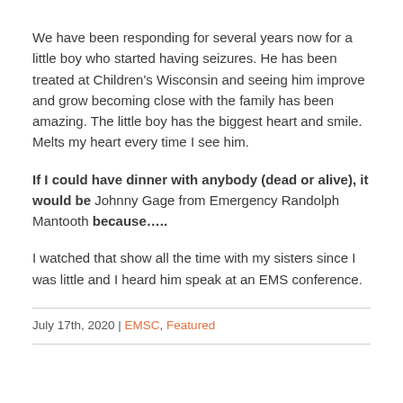We have been responding for several years now for a little boy who started having seizures. He has been treated at Children's Wisconsin and seeing him improve and grow becoming close with the family has been amazing. The little boy has the biggest heart and smile. Melts my heart every time I see him.
If I could have dinner with anybody (dead or alive), it would be Johnny Gage from Emergency Randolph Mantooth because…..
I watched that show all the time with my sisters since I was little and I heard him speak at an EMS conference.
July 17th, 2020 | EMSC, Featured